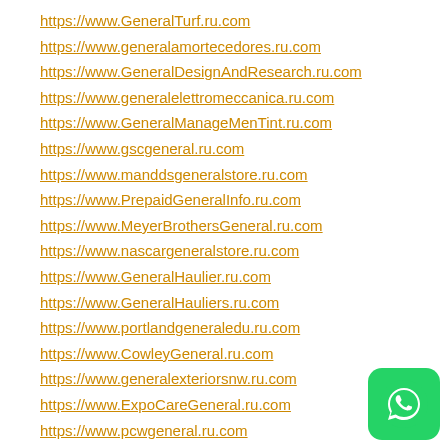https://www.GeneralTurf.ru.com
https://www.generalamortecedores.ru.com
https://www.GeneralDesignAndResearch.ru.com
https://www.generalelettromeccanica.ru.com
https://www.GeneralManageMenTint.ru.com
https://www.gscgeneral.ru.com
https://www.manddsgeneralstore.ru.com
https://www.PrepaidGeneralInfo.ru.com
https://www.MeyerBrothersGeneral.ru.com
https://www.nascargeneralstore.ru.com
https://www.GeneralHaulier.ru.com
https://www.GeneralHauliers.ru.com
https://www.portlandgeneraledu.ru.com
https://www.CowleyGeneral.ru.com
https://www.generalexteriorsnw.ru.com
https://www.ExpoCareGeneral.ru.com
https://www.pcwgeneral.ru.com
https://www.dannysgeneralstore.ru.com
https://www.rcwhitegeneralcon.ru.com
[Figure (logo): WhatsApp icon — green rounded square with white phone handset logo]